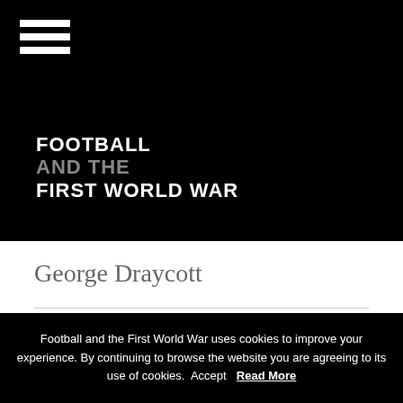FOOTBALL AND THE FIRST WORLD WAR
George Draycott
Football and the First World War uses cookies to improve your experience. By continuing to browse the website you are agreeing to its use of cookies. Accept Read More